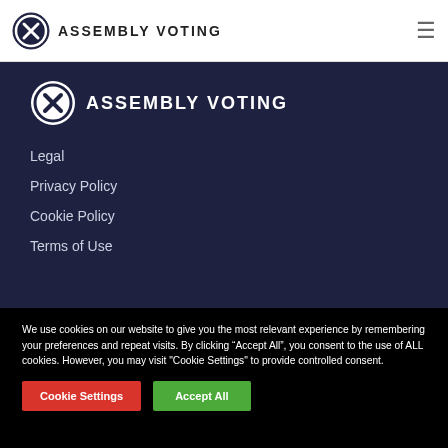ASSEMBLY VOTING
[Figure (logo): Assembly Voting logo in white nav section with circular X mark icon and ASSEMBLY VOTING text]
Legal
Privacy Policy
Cookie Policy
Terms of Use
We use cookies on our website to give you the most relevant experience by remembering your preferences and repeat visits. By clicking “Accept All”, you consent to the use of ALL cookies. However, you may visit "Cookie Settings" to provide controlled consent.
Cookie Settings | Accept All